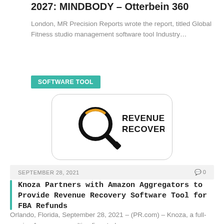2027: MINDBODY – Otterbein 360
London, MR Precision Reports wrote the report, titled Global Fitness studio management software tool Industry…
SOFTWARE TOOL
[Figure (logo): Revenue Recovery logo: magnifying glass icon with text REVENUE RECOVERY® inside a rounded rectangle border]
SEPTEMBER 28, 2021    0
Knoza Partners with Amazon Aggregators to Provide Revenue Recovery Software Tool for FBA Refunds
Orlando, Florida, September 28, 2021 – (PR.com) – Knoza, a full-service Amazon consulting firm, today…